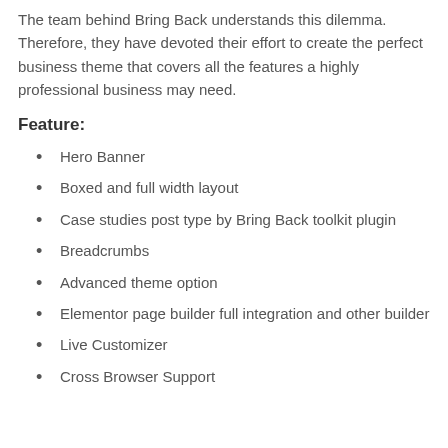The team behind Bring Back understands this dilemma. Therefore, they have devoted their effort to create the perfect business theme that covers all the features a highly professional business may need.
Feature:
Hero Banner
Boxed and full width layout
Case studies post type by Bring Back toolkit plugin
Breadcrumbs
Advanced theme option
Elementor page builder full integration and other builder
Live Customizer
Cross Browser Support